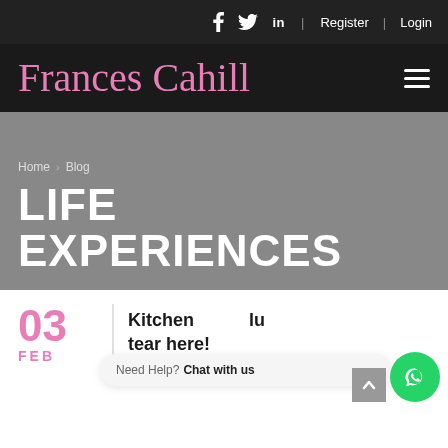f  Twitter  in  Register | Login
Frances Cahill
[Figure (other): Grey hero/banner section with breadcrumb navigation and page title]
Home > Blog
LIFE EXPERIENCES
03
FEB
Kitchen lu... tear here!
Need Help? Chat with us